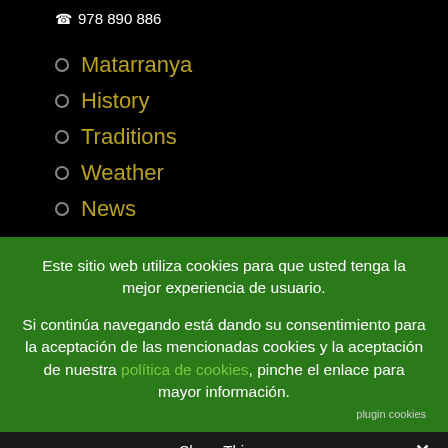📞 978 890 886
Matarranya
History
Traditions
Weather
News
Este sitio web utiliza cookies para que usted tenga la mejor experiencia de usuario.
Si continúa navegando está dando su consentimiento para la aceptación de las mencionadas cookies y la aceptación de nuestra política de cookies, pinche el enlace para mayor información.
plugin cookies
Share This ∨ ✕